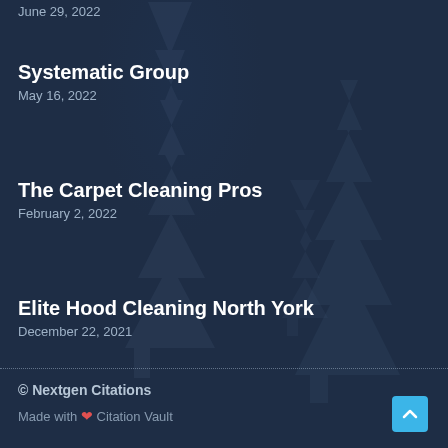June 29, 2022
Systematic Group
May 16, 2022
The Carpet Cleaning Pros
February 2, 2022
Elite Hood Cleaning North York
December 22, 2021
© Nextgen Citations
Made with ❤ Citation Vault